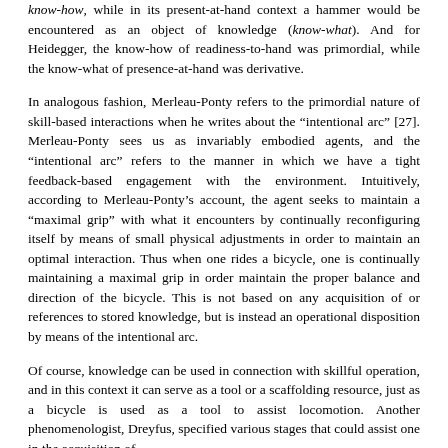know-how, while in its present-at-hand context a hammer would be encountered as an object of knowledge (know-what). And for Heidegger, the know-how of readiness-to-hand was primordial, while the know-what of presence-at-hand was derivative.
In analogous fashion, Merleau-Ponty refers to the primordial nature of skill-based interactions when he writes about the "intentional arc" [27]. Merleau-Ponty sees us as invariably embodied agents, and the "intentional arc" refers to the manner in which we have a tight feedback-based engagement with the environment. Intuitively, according to Merleau-Ponty's account, the agent seeks to maintain a "maximal grip" with what it encounters by continually reconfiguring itself by means of small physical adjustments in order to maintain an optimal interaction. Thus when one rides a bicycle, one is continually maintaining a maximal grip in order maintain the proper balance and direction of the bicycle. This is not based on any acquisition of or references to stored knowledge, but is instead an operational disposition by means of the intentional arc.
Of course, knowledge can be used in connection with skillful operation, and in this context it can serve as a tool or a scaffolding resource, just as a bicycle is used as a tool to assist locomotion. Another phenomenologist, Dreyfus, specified various stages that could assist one in the acquisition of